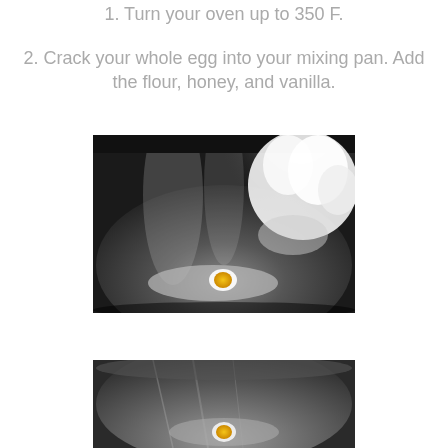1. Turn your oven up to 350 F.
2. Crack your whole egg into your mixing pan. Add the flour, honey, and vanilla.
[Figure (photo): A stainless steel mixing bowl with a cracked egg and flour being poured into it from above.]
[Figure (photo): A stainless steel mixing bowl viewed from above with ingredients, partially cropped at bottom of page.]